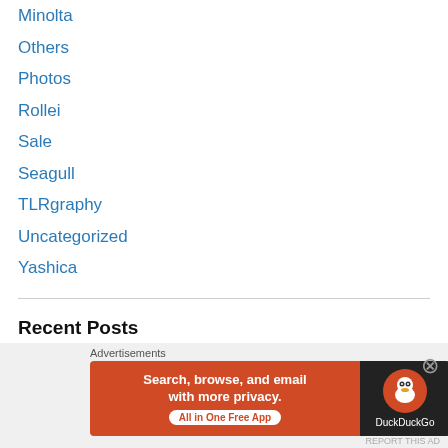Minolta
Others
Photos
Rollei
Sale
Seagull
TLRgraphy
Uncategorized
Yashica
Recent Posts
New Page on Facebook
Rolleinar of All Sizes
Anyone still collects Stamps?
How Many Yashica TLR Fans?
[Figure (infographic): DuckDuckGo advertisement banner: 'Search, browse, and email with more privacy. All in One Free App' with DuckDuckGo logo on dark background]